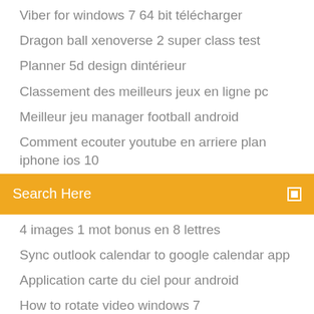Viber for windows 7 64 bit télécharger
Dragon ball xenoverse 2 super class test
Planner 5d design dintérieur
Classement des meilleurs jeux en ligne pc
Meilleur jeu manager football android
Comment ecouter youtube en arriere plan iphone ios 10
[Figure (screenshot): Orange search bar with text 'Search Here' and a small square icon on the right]
4 images 1 mot bonus en 8 lettres
Sync outlook calendar to google calendar app
Application carte du ciel pour android
How to rotate video windows 7
Ralink rt5390r 802.11bgn wifi adapter driver télécharger windows 7
Bonjour. Microsoft Office 2010 est compatible avec Windows XP, donc à fortiori toutes les versions supérieures. Windows 10 part sur une base de Windows 8, donc normalement, il ne doit pas y